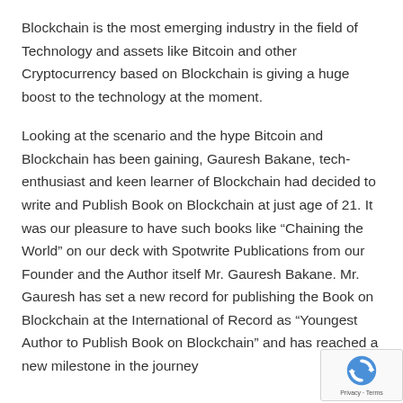Blockchain is the most emerging industry in the field of Technology and assets like Bitcoin and other Cryptocurrency based on Blockchain is giving a huge boost to the technology at the moment.
Looking at the scenario and the hype Bitcoin and Blockchain has been gaining, Gauresh Bakane, tech-enthusiast and keen learner of Blockchain had decided to write and Publish Book on Blockchain at just age of 21. It was our pleasure to have such books like “Chaining the World” on our deck with Spotwrite Publications from our Founder and the Author itself Mr. Gauresh Bakane. Mr. Gauresh has set a new record for publishing the Book on Blockchain at the International of Record as “Youngest Author to Publish Book on Blockchain” and has reached a new milestone in the journey
[Figure (other): reCAPTCHA badge with logo showing blue and white circular arrow icon, and 'Privacy - Terms' text below]